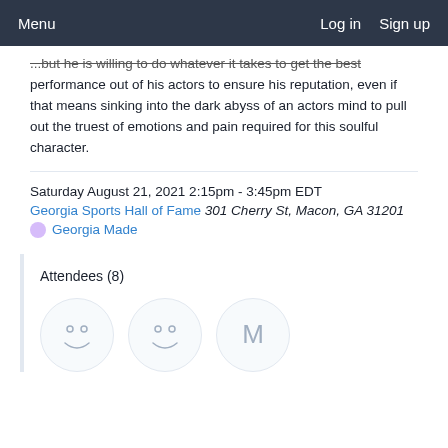Menu  Log in  Sign up
...but he is willing to do whatever it takes to get the best performance out of his actors to ensure his reputation, even if that means sinking into the dark abyss of an actors mind to pull out the truest of emotions and pain required for this soulful character.
Saturday August 21, 2021 2:15pm - 3:45pm EDT
Georgia Sports Hall of Fame 301 Cherry St, Macon, GA 31201
Georgia Made